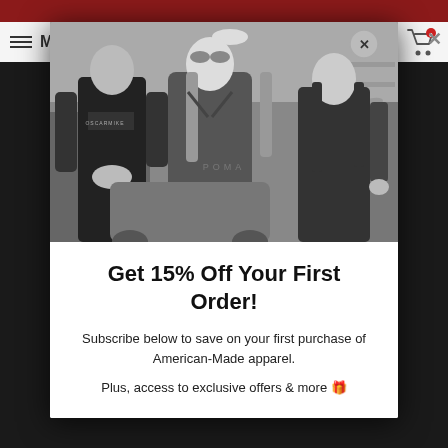[Figure (screenshot): Website screenshot showing a popup modal over a dark background. The modal contains a black-and-white photo of three people (a man in a t-shirt and two women) in what appears to be a garage or warehouse setting with vintage vehicles. A circular close button with an X is in the upper-right corner of the photo. A navigation bar with hamburger menu, letter M, and shopping cart icon with badge '0' is visible at the top.]
Get 15% Off Your First Order!
Subscribe below to save on your first purchase of American-Made apparel.
Plus, access to exclusive offers & more 🎁